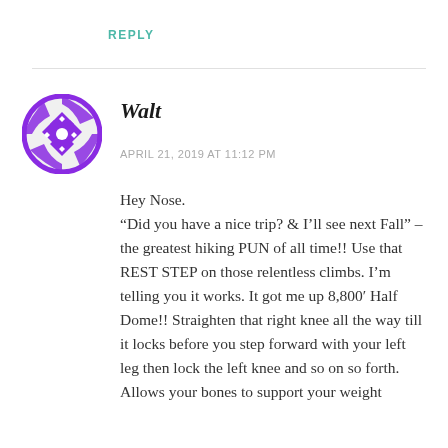REPLY
[Figure (illustration): Purple decorative avatar icon with geometric diamond/snowflake pattern]
Walt
APRIL 21, 2019 AT 11:12 PM
Hey Nose.
“Did you have a nice trip? & I’ll see next Fall” – the greatest hiking PUN of all time!! Use that REST STEP on those relentless climbs. I’m telling you it works. It got me up 8,800’ Half Dome!! Straighten that right knee all the way till it locks before you step forward with your left leg then lock the left knee and so on so forth. Allows your bones to support your weight